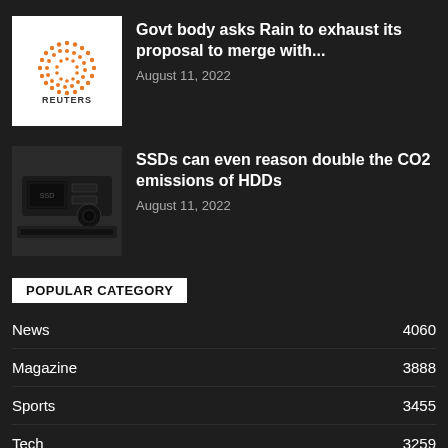[Figure (logo): Reuters logo - orange dot grid pattern with REUTERS text below]
Govt body asks Rain to exhaust its proposal to merge with...
August 11, 2022
[Figure (photo): Close-up photo of an SSD/computer hardware component]
SSDs can even reason double the CO2 emissions of HDDs
August 11, 2022
POPULAR CATEGORY
News    4060
Magazine    3888
Sports    3455
Tech    3259
Celebs    1646
Sci-Fi    1611